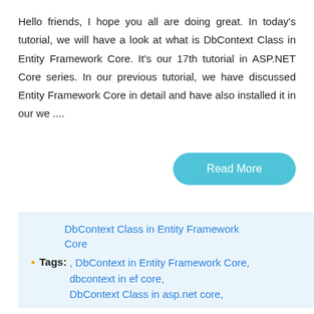Hello friends, I hope you all are doing great. In today's tutorial, we will have a look at what is DbContext Class in Entity Framework Core. It's our 17th tutorial in ASP.NET Core series. In our previous tutorial, we have discussed Entity Framework Core in detail and have also installed it in our we ....
[Figure (other): Read More button - rounded rectangle button in cyan/light blue color with white text]
DbContext Class in Entity Framework Core
• Tags: , DbContext in Entity Framework Core, dbcontext in ef core, DbContext Class in asp.net core,